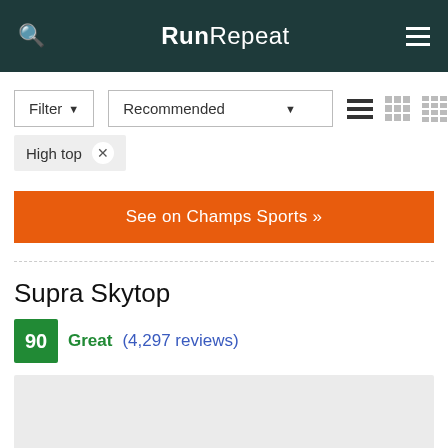RunRepeat
Filter ▾   Recommended ▾
High top ×
See on Champs Sports »
Supra Skytop
90  Great (4,297 reviews)
[Figure (photo): Product image placeholder for Supra Skytop shoe]